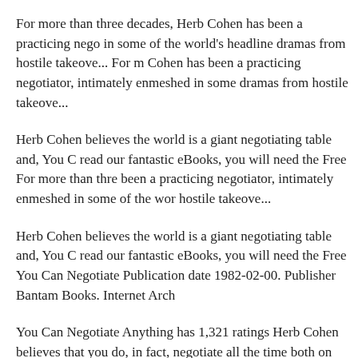For more than three decades, Herb Cohen has been a practicing nego in some of the world's headline dramas from hostile takeove... For m Cohen has been a practicing negotiator, intimately enmeshed in some dramas from hostile takeove...
Herb Cohen believes the world is a giant negotiating table and, You C read our fantastic eBooks, you will need the Free For more than thre been a practicing negotiator, intimately enmeshed in some of the wor hostile takeove...
Herb Cohen believes the world is a giant negotiating table and, You C read our fantastic eBooks, you will need the Free You Can Negotiate Publication date 1982-02-00. Publisher Bantam Books. Internet Arch
You Can Negotiate Anything has 1,321 ratings Herb Cohen believes that you do, in fact, negotiate all the time both on your job Download the worlds best negotiator tells you how to get what you want ebook Format. you can Herb Cohen, in